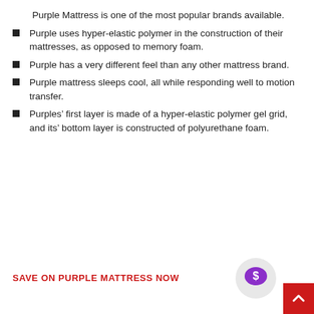Purple Mattress is one of the most popular brands available.
Purple uses hyper-elastic polymer in the construction of their mattresses, as opposed to memory foam.
Purple has a very different feel than any other mattress brand.
Purple mattress sleeps cool, all while responding well to motion transfer.
Purples’ first layer is made of a hyper-elastic polymer gel grid, and its’ bottom layer is constructed of polyurethane foam.
SAVE ON PURPLE MATTRESS NOW